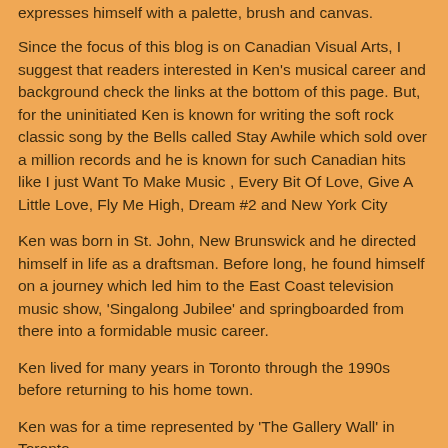expresses himself with a palette, brush and canvas.
Since the focus of this blog is on Canadian Visual Arts, I suggest that readers interested in Ken's musical career and background check the links at the bottom of this page. But, for the uninitiated Ken is known for writing the soft rock classic song by the Bells called Stay Awhile which sold over a million records and he is known for such Canadian hits like I just Want To Make Music , Every Bit Of Love, Give A Little Love, Fly Me High, Dream #2 and New York City
Ken was born in St. John, New Brunswick and he directed himself in life as a draftsman. Before long, he found himself on a journey which led him to the East Coast television music show, 'Singalong Jubilee' and springboarded from there into a formidable music career.
Ken lived for many years in Toronto through the 1990s before returning to his home town.
Ken was for a time represented by 'The Gallery Wall' in Toronto.